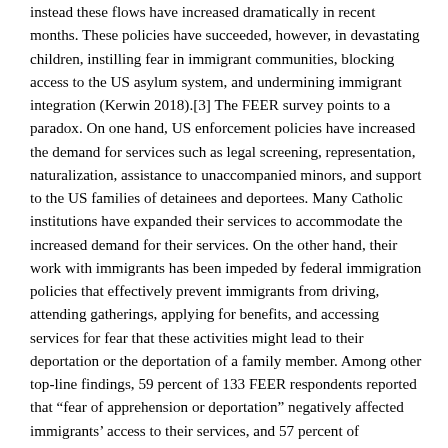instead these flows have increased dramatically in recent months. These policies have succeeded, however, in devastating children, instilling fear in immigrant communities, blocking access to the US asylum system, and undermining immigrant integration (Kerwin 2018).[3] The FEER survey points to a paradox. On one hand, US enforcement policies have increased the demand for services such as legal screening, representation, naturalization, assistance to unaccompanied minors, and support to the US families of detainees and deportees. Many Catholic institutions have expanded their services to accommodate the increased demand for their services. On the other hand, their work with immigrants has been impeded by federal immigration policies that effectively prevent immigrants from driving, attending gatherings, applying for benefits, and accessing services for fear that these activities might lead to their deportation or the deportation of a family member. Among other top-line findings, 59 percent of 133 FEER respondents reported that “fear of apprehension or deportation” negatively affected immigrants’ access to their services, and 57 percent of